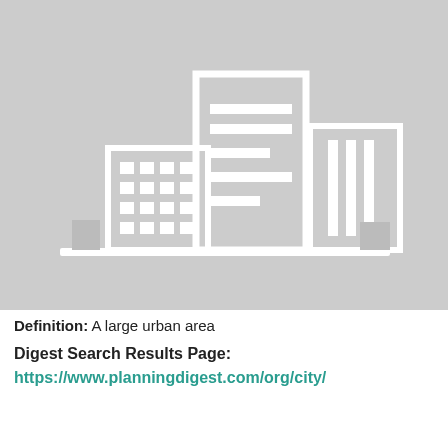[Figure (illustration): A light gray background illustration of a city skyline with white building outlines. The central building is the tallest with horizontal line details. Left building has a grid of windows. Right building has vertical stripe details. Smaller structures visible at the sides and base.]
Definition: A large urban area
Digest Search Results Page: https://www.planningdigest.com/org/city/